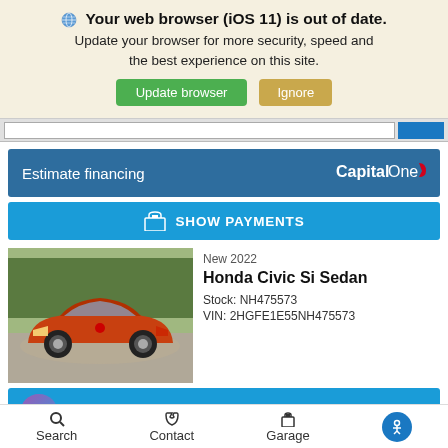Your web browser (iOS 11) is out of date. Update your browser for more security, speed and the best experience on this site.
Update browser | Ignore
[Figure (screenshot): Search bar area with input and blue button]
Estimate financing
[Figure (logo): Capital One logo]
SHOW PAYMENTS
[Figure (photo): Orange/red Honda Civic Si Sedan parked in a lot with trees in background]
New 2022
Honda Civic Si Sedan
Stock: NH475573
VIN: 2HGFE1E55NH475573
Get a Quick Quote
Search  Contact  Garage  [accessibility icon]